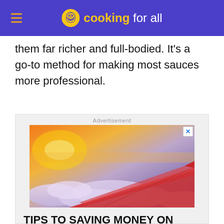cooking for all
them far richer and full-bodied. It's a go-to method for making most sauces more professional.
[Figure (photo): Advertisement banner showing airplane wing view above clouds at sunset with text 'TIPS TO SAVING MONEY ON AIRPLANE FOOD']